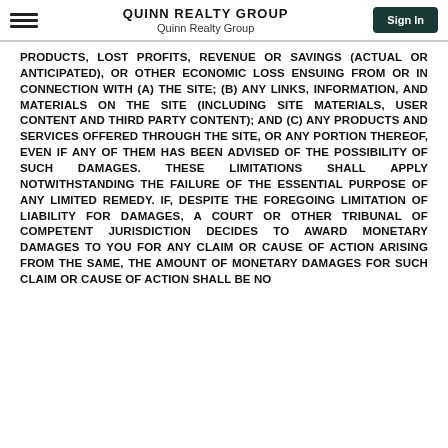QUINN REALTY GROUP
Quinn Realty Group
PRODUCTS, LOST PROFITS, REVENUE OR SAVINGS (ACTUAL OR ANTICIPATED), OR OTHER ECONOMIC LOSS ENSUING FROM OR IN CONNECTION WITH (A) THE SITE; (B) ANY LINKS, INFORMATION, AND MATERIALS ON THE SITE (INCLUDING SITE MATERIALS, USER CONTENT AND THIRD PARTY CONTENT); AND (C) ANY PRODUCTS AND SERVICES OFFERED THROUGH THE SITE, OR ANY PORTION THEREOF, EVEN IF ANY OF THEM HAS BEEN ADVISED OF THE POSSIBILITY OF SUCH DAMAGES. THESE LIMITATIONS SHALL APPLY NOTWITHSTANDING THE FAILURE OF THE ESSENTIAL PURPOSE OF ANY LIMITED REMEDY. IF, DESPITE THE FOREGOING LIMITATION OF LIABILITY FOR DAMAGES, A COURT OR OTHER TRIBUNAL OF COMPETENT JURISDICTION DECIDES TO AWARD MONETARY DAMAGES TO YOU FOR ANY CLAIM OR CAUSE OF ACTION ARISING FROM THE SAME, THE AMOUNT OF MONETARY DAMAGES FOR SUCH CLAIM OR CAUSE OF ACTION SHALL BE NO